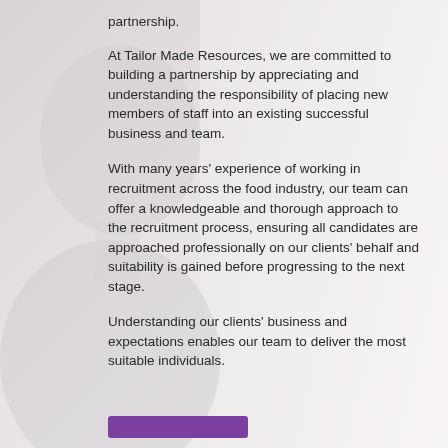partnership.
At Tailor Made Resources, we are committed to building a partnership by appreciating and understanding the responsibility of placing new members of staff into an existing successful business and team.
With many years' experience of working in recruitment across the food industry, our team can offer a knowledgeable and thorough approach to the recruitment process, ensuring all candidates are approached professionally on our clients' behalf and suitability is gained before progressing to the next stage.
Understanding our clients' business and expectations enables our team to deliver the most suitable individuals.
[Figure (photo): Background photo of a man in a suit, shown from shoulders up, blurred/semi-transparent overlay serving as page background]
[Figure (other): Purple/violet button at the bottom of the page]